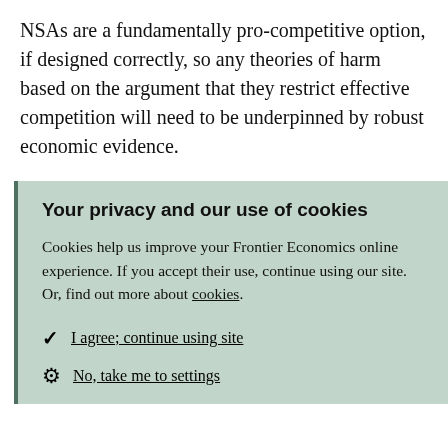NSAs are a fundamentally pro-competitive option, if designed correctly, so any theories of harm based on the argument that they restrict effective competition will need to be underpinned by robust economic evidence.
Your privacy and our use of cookies
Cookies help us improve your Frontier Economics online experience. If you accept their use, continue using our site. Or, find out more about cookies.
I agree; continue using site
No, take me to settings